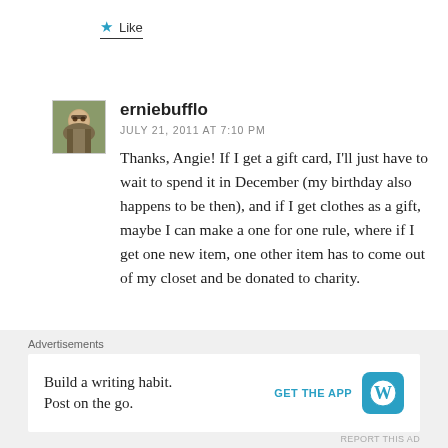Like
[Figure (photo): Avatar photo of commenter erniebufflo showing a person with glasses and a patterned top]
erniebufflo
JULY 21, 2011 AT 7:10 PM
Thanks, Angie! If I get a gift card, I'll just have to wait to spend it in December (my birthday also happens to be then), and if I get clothes as a gift, maybe I can make a one for one rule, where if I get one new item, one other item has to come out of my closet and be donated to charity.
Like
Advertisements
Build a writing habit. Post on the go.
GET THE APP